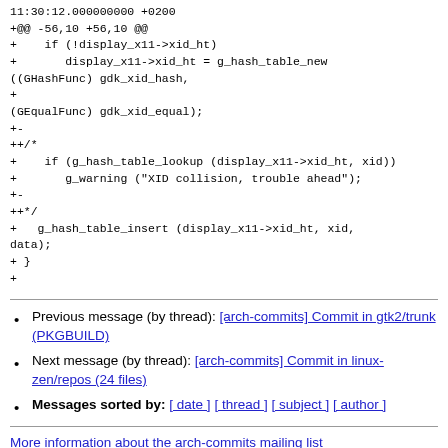11:30:12.000000000 +0200
+@@ -56,10 +56,10 @@
+    if (!display_x11->xid_ht)
+       display_x11->xid_ht = g_hash_table_new ((GHashFunc) gdk_xid_hash,
+
(GEqualFunc) gdk_xid_equal);
+-
++/*
+    if (g_hash_table_lookup (display_x11->xid_ht, xid))
+       g_warning ("XID collision, trouble ahead");
+-
++*/
+   g_hash_table_insert (display_x11->xid_ht, xid, data);
+ }
+
Previous message (by thread): [arch-commits] Commit in gtk2/trunk (PKGBUILD)
Next message (by thread): [arch-commits] Commit in linux-zen/repos (24 files)
Messages sorted by: [ date ] [ thread ] [ subject ] [ author ]
More information about the arch-commits mailing list